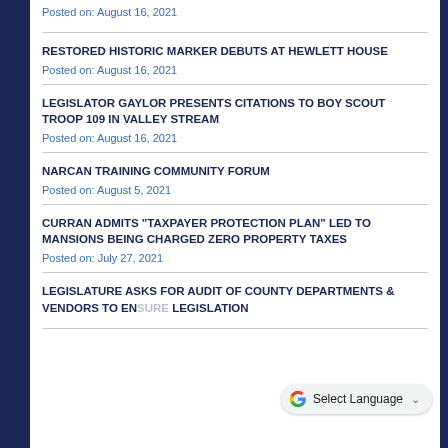Posted on: August 16, 2021
RESTORED HISTORIC MARKER DEBUTS AT HEWLETT HOUSE
Posted on: August 16, 2021
LEGISLATOR GAYLOR PRESENTS CITATIONS TO BOY SCOUT TROOP 109 IN VALLEY STREAM
Posted on: August 16, 2021
NARCAN TRAINING COMMUNITY FORUM
Posted on: August 5, 2021
CURRAN ADMITS "TAXPAYER PROTECTION PLAN" LED TO MANSIONS BEING CHARGED ZERO PROPERTY TAXES
Posted on: July 27, 2021
LEGISLATURE ASKS FOR AUDIT OF COUNTY DEPARTMENTS & VENDORS TO ENSURE LEGISLATION